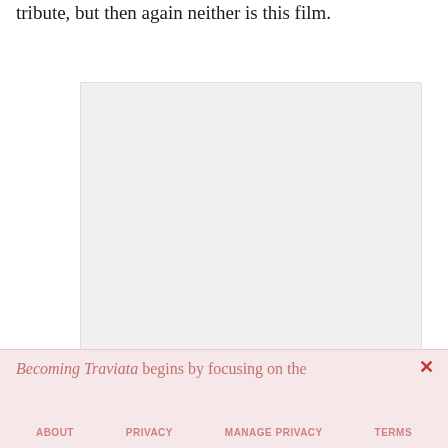tribute, but then again neither is this film.
[Figure (other): A light gray rectangular placeholder image or video embed area]
Becoming Traviata begins by focusing on the
ABOUT   PRIVACY   MANAGE PRIVACY   TERMS